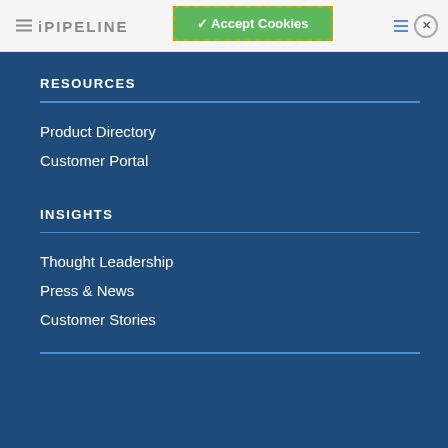iPIPELINE — Accept Cookies
RESOURCES
Product Directory
Customer Portal
INSIGHTS
Thought Leadership
Press & News
Customer Stories